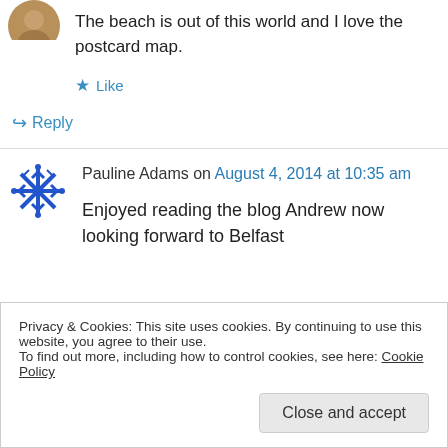[Figure (photo): Circular avatar photo of a person, partially visible at top]
The beach is out of this world and I love the postcard map.
★ Like
↪ Reply
[Figure (logo): Blue snowflake/star decorative avatar for Pauline Adams]
Pauline Adams on August 4, 2014 at 10:35 am
Enjoyed reading the blog Andrew now looking forward to Belfast
Privacy & Cookies: This site uses cookies. By continuing to use this website, you agree to their use.
To find out more, including how to control cookies, see here: Cookie Policy
Close and accept